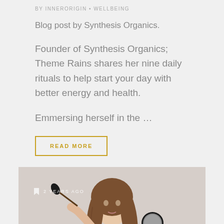BY INNERORIGIN • WELLBEING
Blog post by Synthesis Organics.
Founder of Synthesis Organics; Theme Rains shares her nine daily rituals to help start your day with better energy and health.
Emmersing herself in the …
READ MORE
[Figure (photo): Young woman applying makeup with a brush, holding a mirror, with overlay text '2 YEARS AGO']